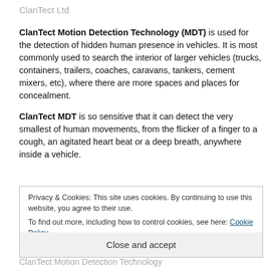ClanTect Ltd
ClanTect Motion Detection Technology (MDT) is used for the detection of hidden human presence in vehicles. It is most commonly used to search the interior of larger vehicles (trucks, containers, trailers, coaches, caravans, tankers, cement mixers, etc), where there are more spaces and places for concealment.
ClanTect MDT is so sensitive that it can detect the very smallest of human movements, from the flicker of a finger to a cough, an agitated heart beat or a deep breath, anywhere inside a vehicle.
Privacy & Cookies: This site uses cookies. By continuing to use this website, you agree to their use.
To find out more, including how to control cookies, see here: Cookie Policy
Close and accept
ClanTect Motion Detection Technology